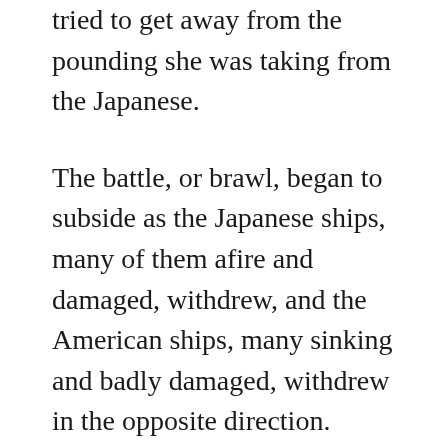tried to get away from the pounding she was taking from the Japanese.
The battle, or brawl, began to subside as the Japanese ships, many of them afire and damaged, withdrew, and the American ships, many sinking and badly damaged, withdrew in the opposite direction. Damage-control crews aboard San Francisco desperately tried to save her. The ship was heavily damaged, having suffered over 45 enemy shell hits, at least 12 of which were 14-inch battleship shells. The ship blazed away in the night, with at least 25 separate fires burning while she took on over 500 tons of seawater through the holes punched in her hull. Through the effects of those losses we started buffeted but